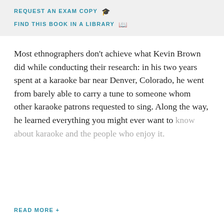REQUEST AN EXAM COPY 🎓
FIND THIS BOOK IN A LIBRARY 📚
Most ethnographers don't achieve what Kevin Brown did while conducting their research: in his two years spent at a karaoke bar near Denver, Colorado, he went from barely able to carry a tune to someone whom other karaoke patrons requested to sing. Along the way, he learned everything you might ever want to know about karaoke and the people who enjoy it.
READ MORE +